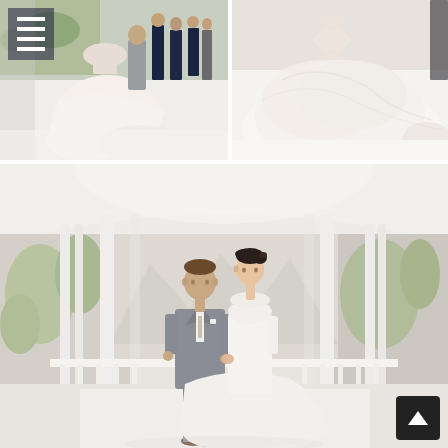[Figure (photo): Wedding ceremony scene with bride in white dress and groom in gray suit, bridesmaids in navy dresses visible in background, standing on white floor indoors. Navigation menu icon overlaid top-left. Side-by-side pair of photos: left shows back of bride with wedding party, right shows bride's flowing white train.]
[Figure (photo): Bride and groom standing together in a large white columned venue with arched ceiling and scenic mountain/garden backdrop visible through windows. Groom in gray suit, bride in white A-line gown. Scroll-to-top button overlaid bottom-right.]